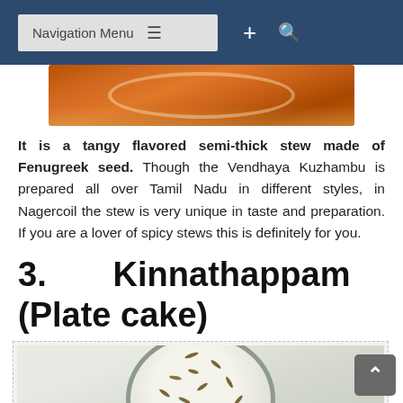Navigation Menu
[Figure (photo): Top portion of a bowl of Vendhaya Kuzhambu (fenugreek stew), showing orange-brown curry]
It is a tangy flavored semi-thick stew made of Fenugreek seed. Though the Vendhaya Kuzhambu is prepared all over Tamil Nadu in different styles, in Nagercoil the stew is very unique in taste and preparation. If you are a lover of spicy stews this is definitely for you.
3. Kinnathappam (Plate cake)
[Figure (photo): A round metal plate (kinnathappam/plate cake) with white rice cake topped with scattered cumin/sesame seeds, viewed from above]